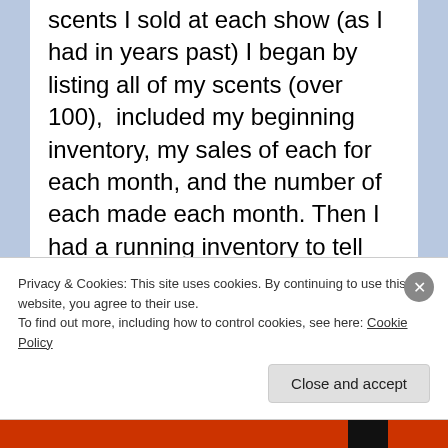scents I sold at each show (as I had in years past) I began by listing all of my scents (over 100),  included my beginning inventory, my sales of each for each month, and the number of each made each month. Then I had a running inventory to tell which ones needed to be made next. (Yes, this could be done in excel, but was easier for me to track by paper & pencil/pen on a columnar pad.) This year I have plans for slight changes which should make inventory keeping easier yet.
Privacy & Cookies: This site uses cookies. By continuing to use this website, you agree to their use.
To find out more, including how to control cookies, see here: Cookie Policy
Close and accept